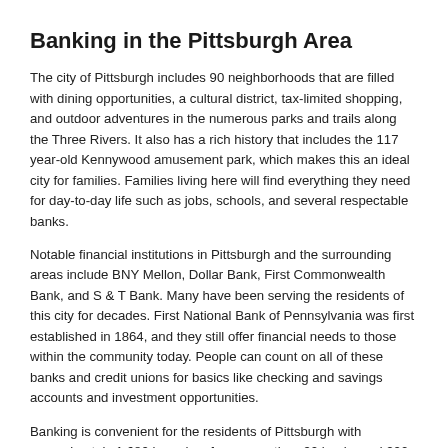Banking in the Pittsburgh Area
The city of Pittsburgh includes 90 neighborhoods that are filled with dining opportunities, a cultural district, tax-limited shopping, and outdoor adventures in the numerous parks and trails along the Three Rivers. It also has a rich history that includes the 117 year-old Kennywood amusement park, which makes this an ideal city for families. Families living here will find everything they need for day-to-day life such as jobs, schools, and several respectable banks.
Notable financial institutions in Pittsburgh and the surrounding areas include BNY Mellon, Dollar Bank, First Commonwealth Bank, and S & T Bank. Many have been serving the residents of this city for decades. First National Bank of Pennsylvania was first established in 1864, and they still offer financial needs to those within the community today. People can count on all of these banks and credit unions for basics like checking and savings accounts and investment opportunities.
Banking is convenient for the residents of Pittsburgh with approximately 1,680 branches from more than 90 banks and 200 credit unions offering drive-through banking, as well as face-to- face help with financial needs. Customers can also take advantage of online banking or use the ATMs throughout the area. The Pittsburgh financial institutions have reasonable rates on student loans, loans for first time home owners, and